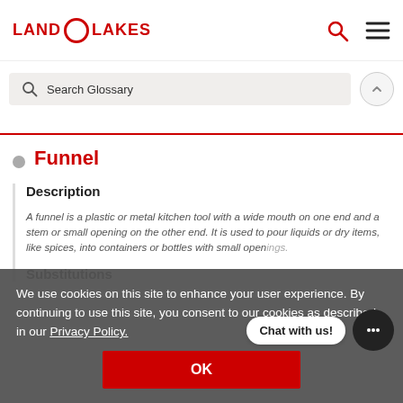LAND O LAKES
Search Glossary
Funnel
Description
A funnel is a plastic or metal kitchen tool with a wide mouth on one end and a stem or small opening on the other end. It is used to pour liquids or dry items, like spices, into containers or bottles with small openings.
Substitutions
We use cookies on this site to enhance your user experience. By continuing to use this site, you consent to our cookies as described in our Privacy Policy.
OK